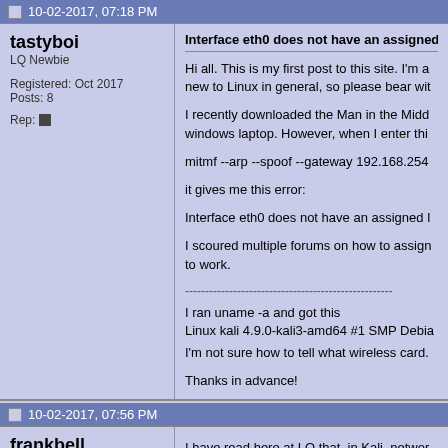10-02-2017, 07:18 PM
tastyboi
LQ Newbie
Registered: Oct 2017
Posts: 8
Rep:
Interface eth0 does not have an assigned IP add
Hi all. This is my first post to this site. I'm a new to Linux in general, so please bear wit

I recently downloaded the Man in the Midd windows laptop. However, when I enter thi

mitmf --arp --spoof --gateway 192.168.254

it gives me this error:

Interface eth0 does not have an assigned I

I scoured multiple forums on how to assign to work.
----------------------------------------------------
I ran uname -a and got this
Linux kali 4.9.0-kali3-amd64 #1 SMP Debia

I'm not sure how to tell what wireless card.

Thanks in advance!
10-02-2017, 07:56 PM
frankbell
LQ Guru
I have read here at LQ that, in Kali, networ This article may help: https://kali.training/c